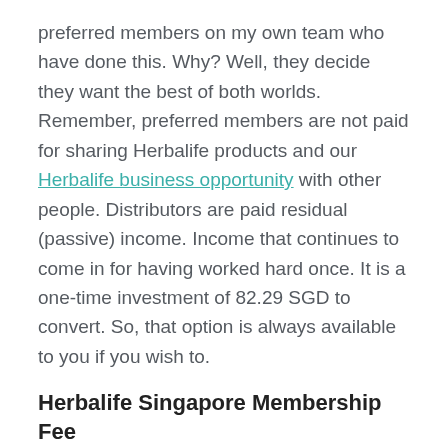preferred members on my own team who have done this. Why? Well, they decide they want the best of both worlds. Remember, preferred members are not paid for sharing Herbalife products and our Herbalife business opportunity with other people. Distributors are paid residual (passive) income. Income that continues to come in for having worked hard once. It is a one-time investment of 82.29 SGD to convert. So, that option is always available to you if you wish to.
Herbalife Singapore Membership Fee
Herbalife membership lasts for 12 months. So…